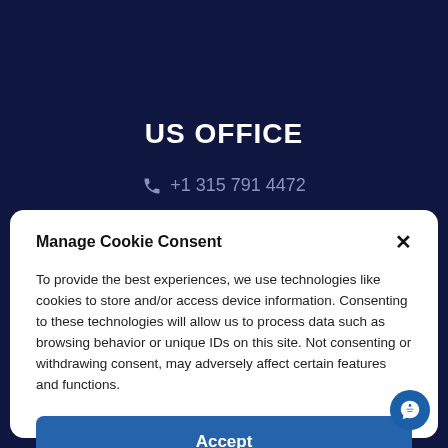US OFFICE
+1 315 791 4472
Manage Cookie Consent
To provide the best experiences, we use technologies like cookies to store and/or access device information. Consenting to these technologies will allow us to process data such as browsing behavior or unique IDs on this site. Not consenting or withdrawing consent, may adversely affect certain features and functions.
Accept
Privacy Policy